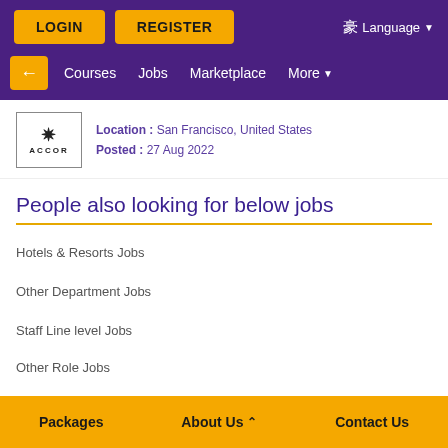LOGIN  REGISTER  Language
← Courses  Jobs  Marketplace  More
Location : San Francisco, United States
Posted : 27 Aug 2022
People also looking for below jobs
Hotels & Resorts Jobs
Other Department Jobs
Staff Line level Jobs
Other Role Jobs
Packages  About Us  Contact Us